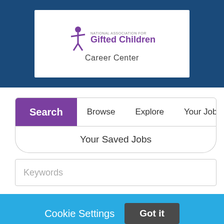[Figure (logo): National Association for Gifted Children Career Center logo with stylized figure icon and purple/grey text]
Search | Browse | Explore | Your Job Alerts
Your Saved Jobs
Keywords
Cookie Settings
Got it
We use cookies so that we can remember you and understand how you use our site. If you do not agree with our use of cookies, please change the current settings found in our Cookie Policy. Otherwise, you agree to the use of the cookies as they are currently set.